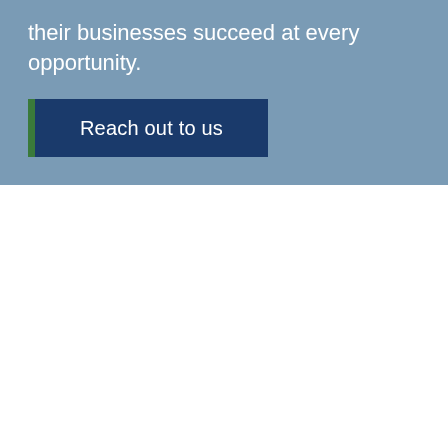their businesses succeed at every opportunity.
[Figure (other): Button labeled 'Reach out to us' with a dark navy blue background and a green left border bar, on a steel blue background section.]